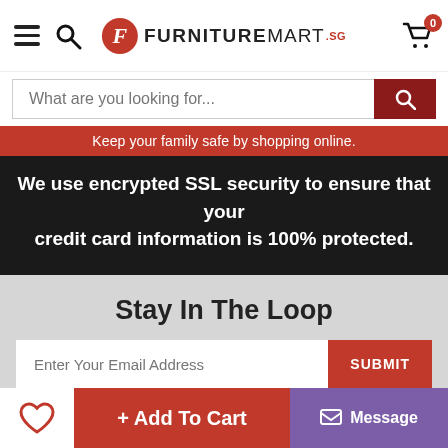FurnitureMart.sg
What are you looking for...
Keep your family safe by shopping online.
We use encrypted SSL security to ensure that your credit card information is 100% protected.
Stay In The Loop
Enter Your Email Address
SUBMIT
I agree to subscribe to updates from FurnitureMart
+ Add To Cart
Message